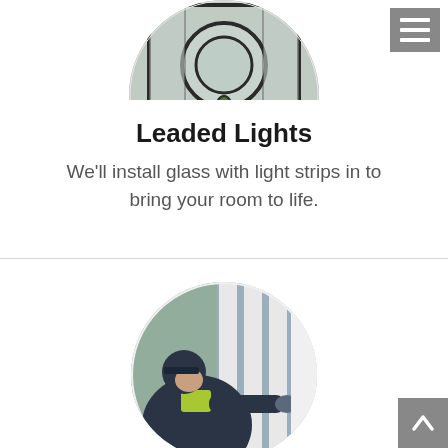[Figure (photo): Circular cropped photo of a stained glass / leaded light decorative window panel with geometric patterns and a green jewel accent, viewed from inside.]
Leaded Lights
We'll install glass with light strips in to bring your room to life.
[Figure (photo): Circular cropped photo of a worker in a yellow high-vis top installing or fitting a white uPVC door or window frame, leaning forward and using both hands.]